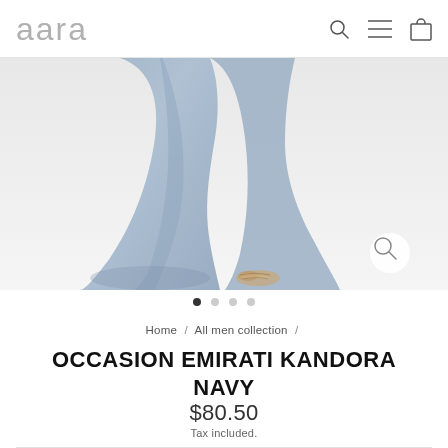aara
[Figure (photo): Close-up photo of a person wearing a light blue-grey Emirati Kandora garment with open-toe sandals, shown from approximately waist down on a light background. A zoom/magnify icon is visible in the lower right corner of the image.]
● ○ ○ ○
Home / All men collection /
OCCASION EMIRATI KANDORA NAVY
$80.50
Tax included.